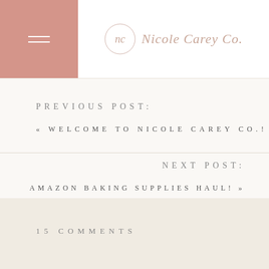Nicole Carey Co.
PREVIOUS POST:
« WELCOME TO NICOLE CAREY CO.!
NEXT POST:
AMAZON BAKING SUPPLIES HAUL! »
15 COMMENTS